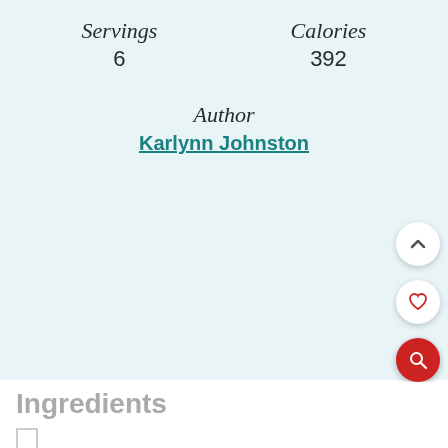Servings
6
Calories
392
Author
Karlynn Johnston
Ingredients